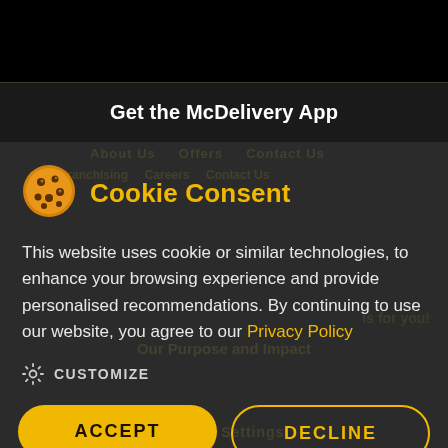Get the McDelivery App
Cookie Consent
This website uses cookie or similar technologies, to enhance your browsing experience and provide personalised recommendations. By continuing to use our website, you agree to our Privacy Policy
CUSTOMIZE
ACCEPT
DECLINE